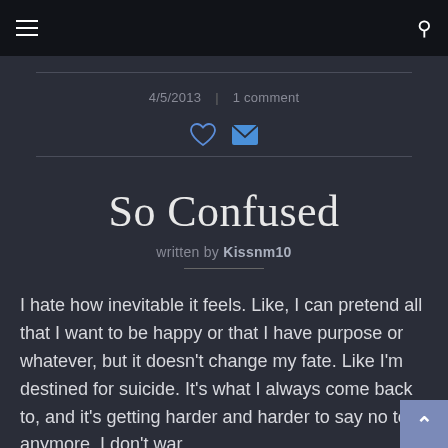Navigation bar with hamburger menu and search icon
4/5/2013  |  1 comment
[Figure (other): Heart icon (outline) and email/envelope icon (blue filled)]
So Confused
written by Kissnm10
I hate how inevitable it feels. Like, I can pretend all that I want to be happy or that I have purpose or whatever, but it doesn't change my fate. Like I'm destined for suicide. It's what I always come back to, and it's getting harder and harder to say no to it anymore. I don't war